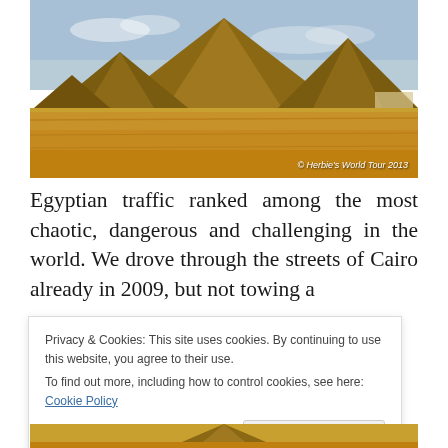[Figure (photo): Photograph of the Pyramids of Giza rising from the Egyptian desert under a blue sky, watermarked '© Herbie's World Tour 2013']
Egyptian traffic ranked among the most chaotic, dangerous and challenging in the world. We drove through the streets of Cairo already in 2009, but not towing a
Privacy & Cookies: This site uses cookies. By continuing to use this website, you agree to their use.
To find out more, including how to control cookies, see here: Cookie Policy
Close and accept
[Figure (photo): Partial photograph of pyramid at bottom of page]